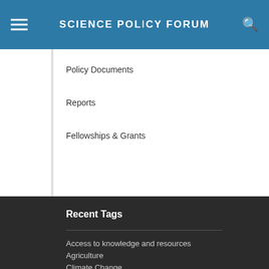SCIENCE POLICY FORUM
Policy Documents
Reports
Fellowships & Grants
Recent Tags
Access to knowledge and resources
Agriculture
Climate Change
Data Governance
Energy
Ethics and Regulatory Issues
Financing STI
Gender Balance